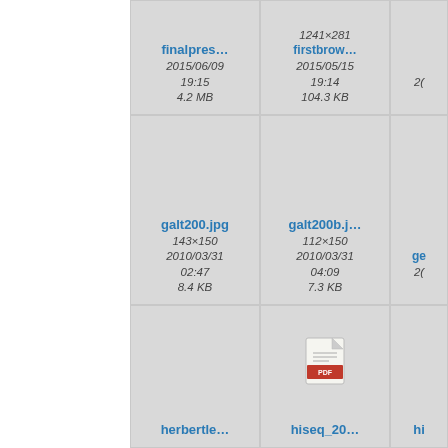[Figure (screenshot): File browser grid showing thumbnails of files. Row 1 (partial top): finalpres... (2015/06/09 19:15, 4.2 MB), firstbrow... (1241x281, 2015/05/15 19:14, 104.3 KB), and a partially visible third cell. Row 2: galt200.jpg (143x150, 2010/03/31 02:47, 8.4 KB), galt200b.j... (112x150, 2010/03/31 04:09, 7.3 KB), and a partially visible third cell ge.... Row 3: herbertle... (gray thumbnail), hiseq_20... (PDF icon), and a partially visible third cell hi...]